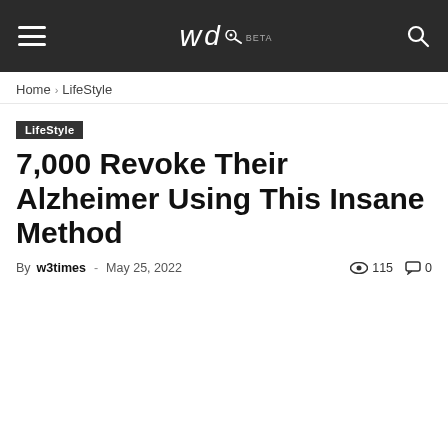w3 [logo] — site navigation header with hamburger menu and search icon
Home › LifeStyle
LifeStyle
7,000 Revoke Their Alzheimer Using This Insane Method
By w3times - May 25, 2022  115  0